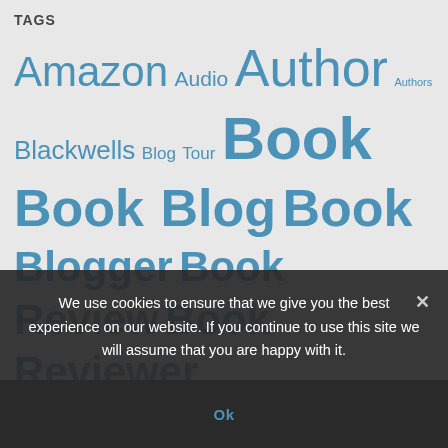TAGS
Amazon Audio Author Authors Blackwells Blog Tour Book Book Blog Book Blogger Book Review Book Reviewer Books Bookshop Children's Clive ebook Fantasy Fiction Five Stars Four and a Half Stars Four Stars Guest Post hardcover Historical humour Interview Julie Kindle Life Mystery Non Fiction Novella Paperback Q&A Review Romance Series Stacey Three and a Half Stars Three Stars Thriller Walker Books Waterstones
We use cookies to ensure that we give you the best experience on our website. If you continue to use this site we will assume that you are happy with it.
Ok